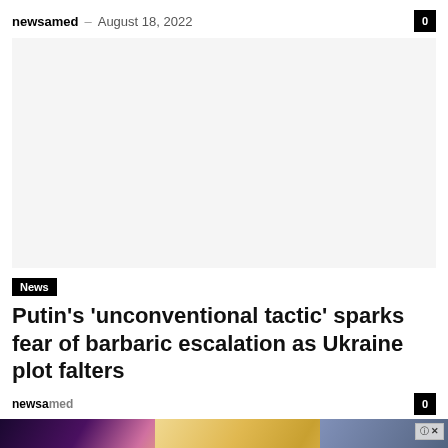newsamed – August 18, 2022
[Figure (other): Advertisement placeholder / blank white space]
News
Putin's 'unconventional tactic' sparks fear of barbaric escalation as Ukraine plot falters
newsamed
[Figure (other): Whispers interactive story game advertisement banner showing romantic scenes]